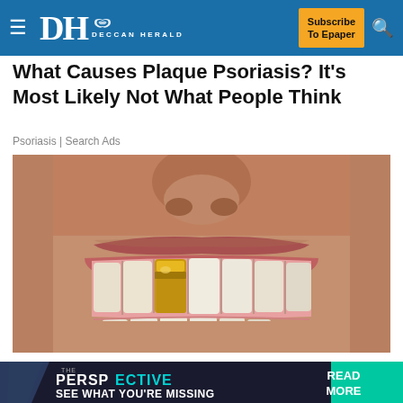DH DECCAN HERALD | Subscribe To Epaper
What Causes Plaque Psoriasis? It's Most Likely Not What People Think
Psoriasis | Search Ads
[Figure (photo): Close-up of a smiling person's mouth showing teeth with one gold tooth on the left side]
Just Released: Dental Implants Are Now Free With
[Figure (infographic): Bottom banner advertisement: The Perspective - SEE WHAT YOU'RE MISSING | READ MORE button]